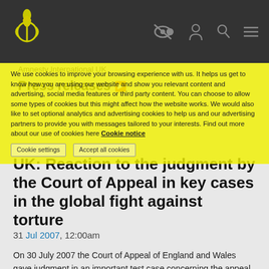[Figure (logo): Amnesty International candle logo in yellow on dark navigation bar with icons for accessibility, user, search, and menu]
We use cookies to improve your browsing experience with us. It helps us get to know how you are using our website and show you relevant content and advertising, social media features or third party content. You can choose to allow some types of cookies but this might affect how the website works. We would also like to set optional analytics and advertising cookies to help us and our advertising partners to provide you with messages tailored to your interests. Find out more about our use of cookies here Cookie notice
Amnesty International UK
Press releases
UK: Reaction to the judgment by the Court of Appeal in key cases in the global fight against torture
31 Jul 2007, 12:00am
On 30 July 2007 the Court of Appeal of England and Wales gave judgment in an important test case concerning the appeal of the...